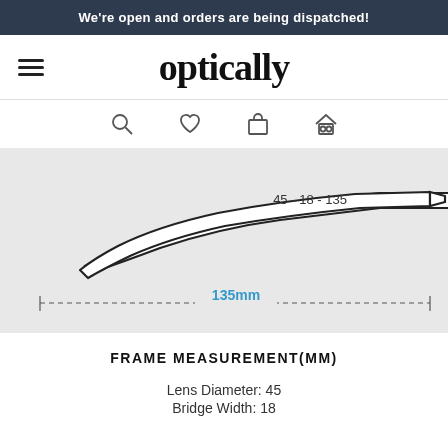We're open and orders are being dispatched!
[Figure (logo): Optically logo with hamburger menu icon on the left]
[Figure (illustration): Diagram of eyeglass temple arm showing measurement 45-18-135 on the arm and 135mm length dimension below]
FRAME MEASUREMENT(MM)
Lens Diameter: 45
Bridge Width: 18